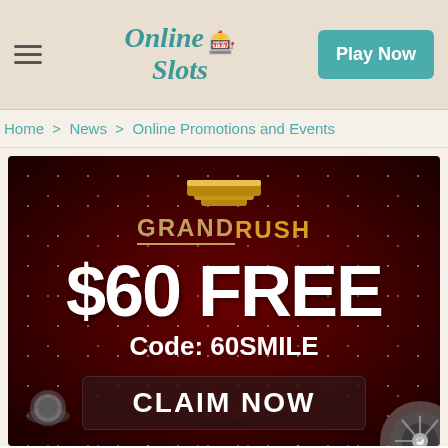Online Slots | Play Now
Home > News > Online Promotions and Events
[Figure (illustration): Grand Rush Casino promotional banner showing $60 FREE offer with code 60SMILE and CLAIM NOW button on dark red background with gold bars logo, casino chips, and roulette wheel]